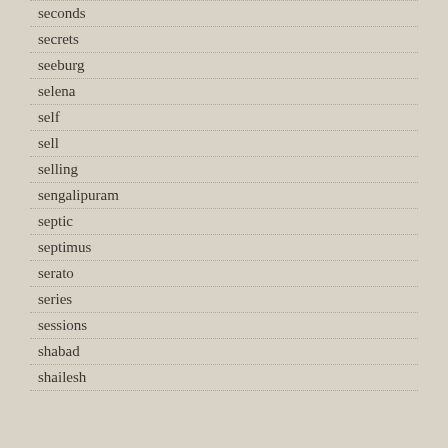seconds
secrets
seeburg
selena
self
sell
selling
sengalipuram
septic
septimus
serato
series
sessions
shabad
shailesh